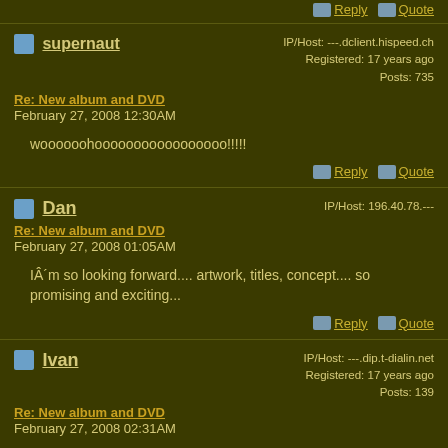Reply  Quote
supernaut
IP/Host: ---.dclient.hispeed.ch
Registered: 17 years ago
Posts: 735
Re: New album and DVD
February 27, 2008 12:30AM
woooooohooooooooooooooooo!!!!!
Reply  Quote
Dan
IP/Host: 196.40.78.---
Re: New album and DVD
February 27, 2008 01:05AM
IÂ´m so looking forward.... artwork, titles, concept.... so promising and exciting...
Reply  Quote
Ivan
IP/Host: ---.dip.t-dialin.net
Registered: 17 years ago
Posts: 139
Re: New album and DVD
February 27, 2008 02:31AM